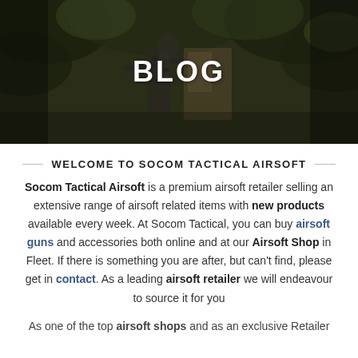[Figure (photo): Hero image of a soldier in camouflage gear holding a rifle, with trees in background and 'BLOG' text overlay]
BLOG
WELCOME TO SOCOM TACTICAL AIRSOFT
Socom Tactical Airsoft is a premium airsoft retailer selling an extensive range of airsoft related items with new products available every week. At Socom Tactical, you can buy airsoft guns and accessories both online and at our Airsoft Shop in Fleet. If there is something you are after, but can't find, please get in contact. As a leading airsoft retailer we will endeavour to source it for you
As one of the top airsoft shops and as an exclusive Retailer